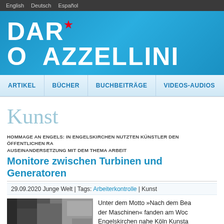English  Deutsch  Español
DARIO AZZELLINI
ARTIKEL | BÜCHER | BUCHBEITRÄGE | VIDEOS-AUDIOS
Kunst
HOMMAGE AN ENGELS: IN ENGELSKIRCHEN NUTZTEN KÜNSTLER DEN ÖFFENTLICHEN RAUM ZUR AUSEINANDERSETZUNG MIT DEM THEMA ARBEIT
Monitore zwischen Turbinen und Generatoren
29.09.2020 Junge Welt | Tags: Arbeiterkontrolle | Kunst
Unter dem Motto »Nach dem Bea der Maschinen« fanden am Woc Engelskirchen nahe Köln Kunsta